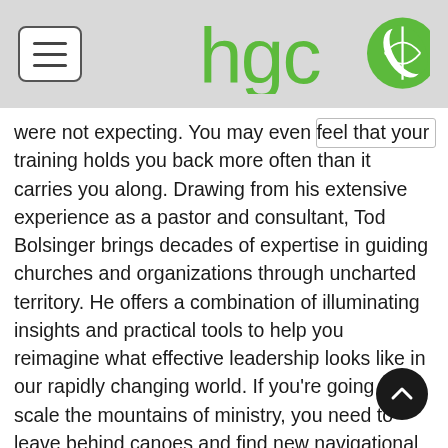hgco (logo with hamburger menu)
were not expecting. You may even feel that your training holds you back more often than it carries you along. Drawing from his extensive experience as a pastor and consultant, Tod Bolsinger brings decades of expertise in guiding churches and organizations through uncharted territory. He offers a combination of illuminating insights and practical tools to help you reimagine what effective leadership looks like in our rapidly changing world. If you're going to scale the mountains of ministry, you need to leave behind canoes and find new navigational tools. Now expanded with a study guide, this book will show you on the right course to lead with confidence and courage.